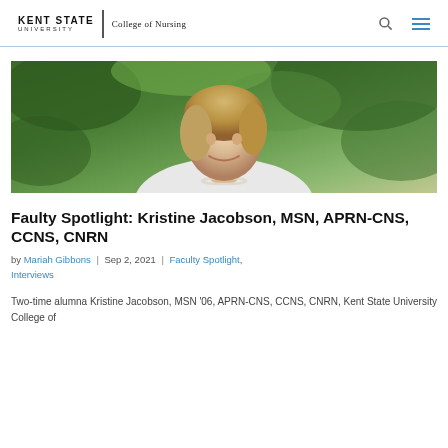Kent State University | College of Nursing
[Figure (photo): Portrait photo of Kristine Jacobson, a woman with short blonde hair wearing a white knit top and pearl necklace, smiling outdoors in front of green leafy trees.]
Faulty Spotlight: Kristine Jacobson, MSN, APRN-CNS, CCNS, CNRN
by Mariah Gibbons | Sep 2, 2021 | Faculty Spotlight, Interviews
Two-time alumna Kristine Jacobson, MSN '06, APRN-CNS, CCNS, CNRN, Kent State University College of